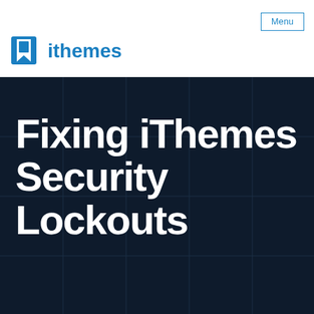[Figure (logo): iThemes logo with shield icon and text 'ithemes' in blue]
Menu
Fixing iThemes Security Lockouts